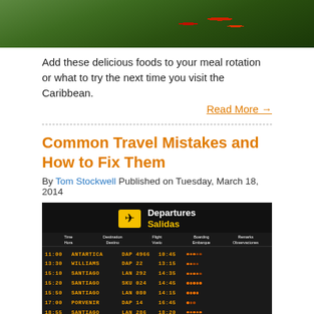[Figure (photo): Close-up photo of tropical fruits and green leaves, partially visible at top of page]
Add these delicious foods to your meal rotation or what to try the next time you visit the Caribbean.
Read More →
Common Travel Mistakes and How to Fix Them
By Tom Stockwell Published on Tuesday, March 18, 2014
[Figure (photo): Photo of an airport departures board (Departures / Salidas) showing flight listings for Antartica, Williams, Santiago, Porvenir destinations with times and flight numbers]